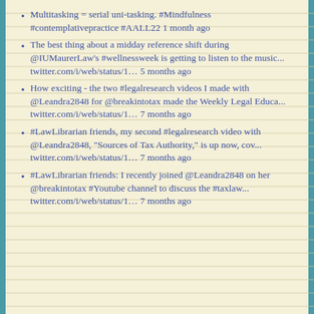Multitasking = serial uni-tasking. #Mindfulness #contemplativepractice #AALL22 1 month ago
The best thing about a midday reference shift during @IUMaurerLaw's #wellnessweek is getting to listen to the music… twitter.com/i/web/status/1… 5 months ago
How exciting - the two #legalresearch videos I made with @Leandra2848 for @breakintotax made the Weekly Legal Educa… twitter.com/i/web/status/1… 7 months ago
#LawLibrarian friends, my second #legalresearch video with @Leandra2848, "Sources of Tax Authority," is up now, cov… twitter.com/i/web/status/1… 7 months ago
#LawLibrarian friends: I recently joined @Leandra2848 on her @breakintotax #Youtube channel to discuss the #taxlaw… twitter.com/i/web/status/1… 7 months ago